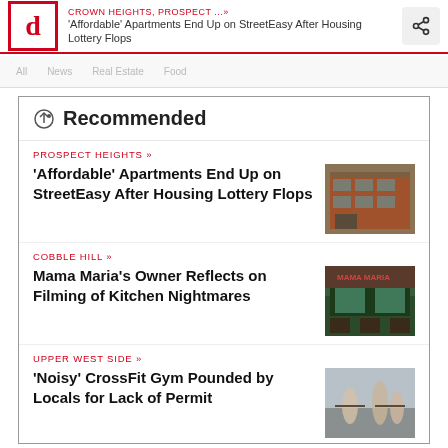CROWN HEIGHTS, PROSPECT ... » 'Affordable' Apartments End Up on StreetEasy After Housing Lottery Flops
Recommended
PROSPECT HEIGHTS »
'Affordable' Apartments End Up on StreetEasy After Housing Lottery Flops
[Figure (photo): Brick apartment building exterior]
COBBLE HILL »
Mama Maria's Owner Reflects on Filming of Kitchen Nightmares
[Figure (photo): Restaurant storefront - Mama Maria]
UPPER WEST SIDE »
'Noisy' CrossFit Gym Pounded by Locals for Lack of Permit
[Figure (photo): CrossFit gym interior with people working out]
EAST HARLEM »
Experts Share 10 Tips to Prepare Kids for
[Figure (photo): Adult and child - education scene]